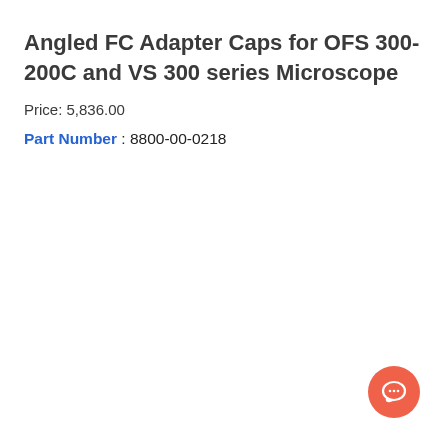Angled FC Adapter Caps for OFS 300-200C and VS 300 series Microscope
Price: 5,836.00
Part Number : 8800-00-0218